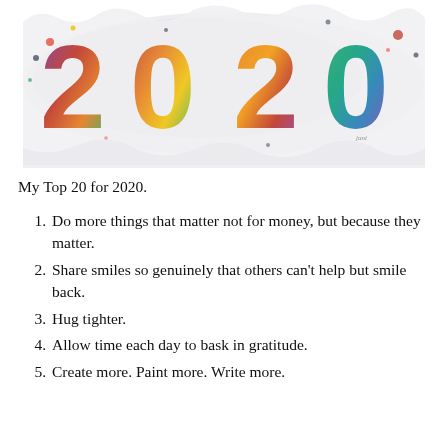[Figure (illustration): Colorful watercolor painting of the number 2020 with rainbow hues on a white watercolor-washed background with paint splatters]
My Top 20 for 2020.
Do more things that matter not for money, but because they matter.
Share smiles so genuinely that others can't help but smile back.
Hug tighter.
Allow time each day to bask in gratitude.
Create more. Paint more. Write more.